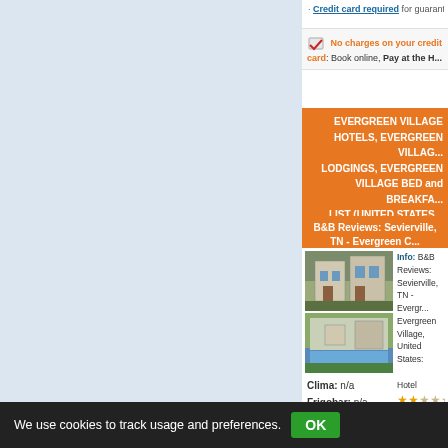Credit card required for guarantee only. Pay when you ar...
No charges on your credit card: Book online, Pay at the H...
EVERGREEN VILLAGE HOTELS, EVERGREEN VILLAGE LODGINGS, EVERGREEN VILLAGE BED and BREAKFA... LIST (UNITED STATES...
B&B Reviews: Sevierville, TN - Evergreen C...
[Figure (photo): Photo of B&B building exterior]
[Figure (photo): Photo of hotel pool area]
Info: B&B Reviews: Sevierville, TN - Evergreen Village, United States:
Hotel ★★☆☆☆
Dollars - Euro: ...
Tel:Fax: ...
TV - HiFi: n/a
Clima: n/a
Frigobar: n/a
Desc: See traveler reviews, candid photos, and great deals for B... TripAdvisor Orbitz.com The faster, easier way to find the hotel yo...
We use cookies to track usage and preferences.